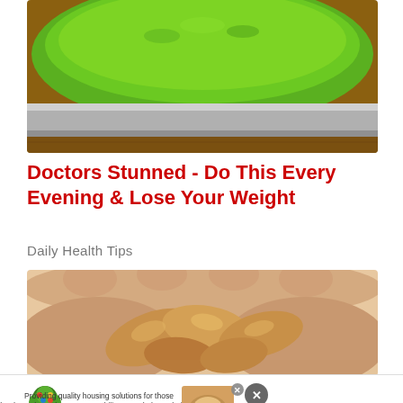[Figure (photo): Close-up photo of a jar/bowl containing bright green matcha powder with a silver rim, set on a wooden surface]
Doctors Stunned - Do This Every Evening & Lose Your Weight
Daily Health Tips
[Figure (photo): A hand holding several raw cashew nuts in its palm]
[Figure (photo): Advertisement banner: Giving Tree Housing - providing quality housing solutions. Click Now to Learn How YOU Can Make a Difference!]